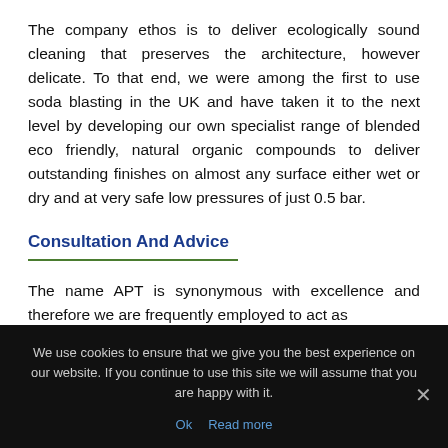The company ethos is to deliver ecologically sound cleaning that preserves the architecture, however delicate. To that end, we were among the first to use soda blasting in the UK and have taken it to the next level by developing our own specialist range of blended eco friendly, natural organic compounds to deliver outstanding finishes on almost any surface either wet or dry and at very safe low pressures of just 0.5 bar.
Consultation And Advice
The name APT is synonymous with excellence and therefore we are frequently employed to act as
We use cookies to ensure that we give you the best experience on our website. If you continue to use this site we will assume that you are happy with it.
Ok  Read more